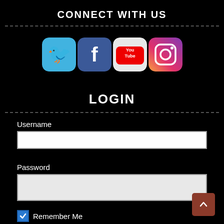CONNECT WITH US
[Figure (illustration): Four social media icons in a row: Twitter (blue bird), Facebook (blue f), YouTube (red play button), Instagram (gradient camera). Each is a rounded square icon.]
LOGIN
Username
Password
Remember Me
LOG IN